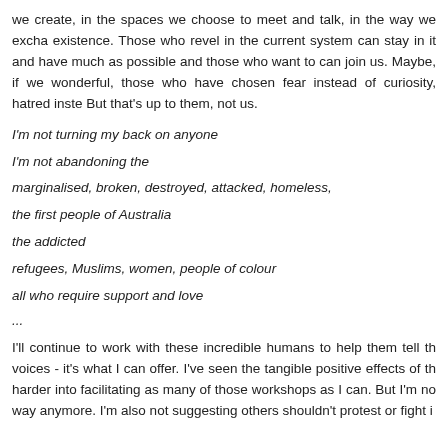we create, in the spaces we choose to meet and talk, in the way we excha existence. Those who revel in the current system can stay in it and have much as possible and those who want to can join us. Maybe, if we wonderful, those who have chosen fear instead of curiosity, hatred inste But that's up to them, not us.
I'm not turning my back on anyone
I'm not abandoning the
marginalised, broken, destroyed, attacked, homeless,
the first people of Australia
the addicted
refugees, Muslims, women, people of colour
all who require support and love
...
I'll continue to work with these incredible humans to help them tell th voices - it's what I can offer. I've seen the tangible positive effects of th harder into facilitating as many of those workshops as I can. But I'm no way anymore. I'm also not suggesting others shouldn't protest or fight i